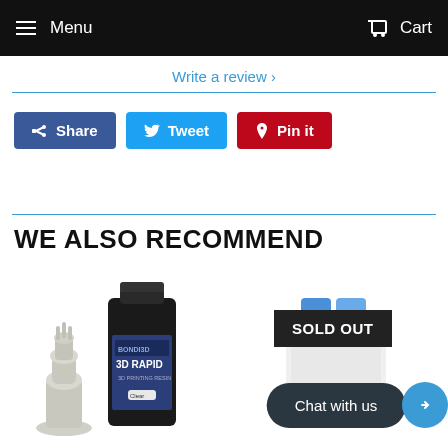Menu  Cart
Write a review ›
Share  Tweet  Pin it
WE ALSO RECOMMEND
[Figure (photo): 3D Rapid resin bottle with a small 3D printed chess piece next to it]
[Figure (photo): Product image with SOLD OUT badge overlay and Chat with us button]